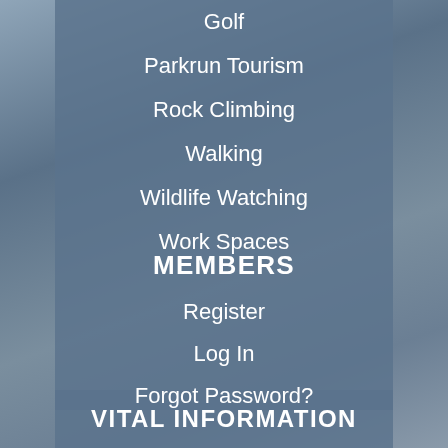Golf
Parkrun Tourism
Rock Climbing
Walking
Wildlife Watching
Work Spaces
MEMBERS
Register
Log In
Forgot Password?
VITAL INFORMATION